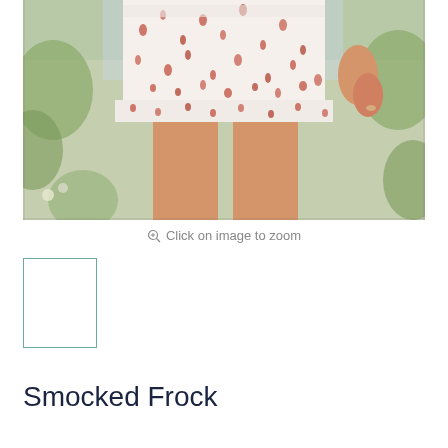[Figure (photo): Close-up fashion photo showing lower half of a model wearing a white floral mini skirt/dress with ruffled hem, small red/pink floral print pattern. Background shows blurred greenery.]
Click on image to zoom
[Figure (photo): Small thumbnail image placeholder with teal/green border, white interior.]
Smocked Frock